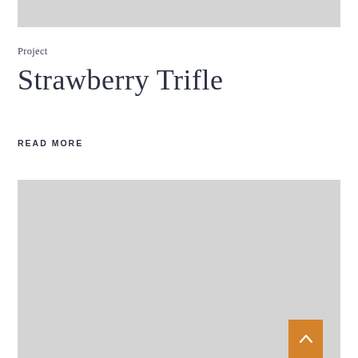[Figure (photo): Gray placeholder image at top of page]
Project
Strawberry Trifle
READ MORE
[Figure (photo): Gray placeholder image at bottom of page with orange scroll-to-top button in bottom right corner]